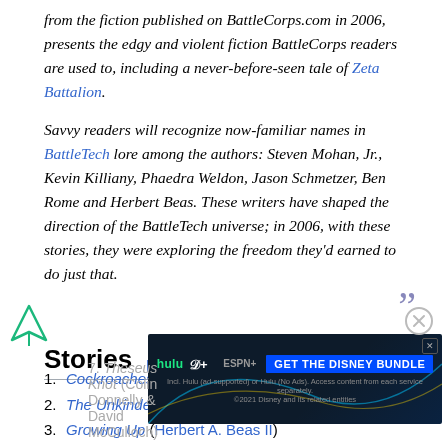from the fiction published on BattleCorps.com in 2006, presents the edgy and violent fiction BattleCorps readers are used to, including a never-before-seen tale of Zeta Battalion.
Savvy readers will recognize now-familiar names in BattleTech lore among the authors: Steven Mohan, Jr., Kevin Killiany, Phaedra Weldon, Jason Schmetzer, Ben Rome and Herbert Beas. These writers have shaped the direction of the BattleTech universe; in 2006, with these stories, they were exploring the freedom they'd earned to do just that.
Stories [edit]
1. Cockroaches (Jason M. Hardy)
2. The Unkindest Cut of All (Phaedra M. Weldon)
3. Growing Up (Herbert A. Beas II)
4. Sniper (Jason Schmetzer)
7. Theseus Knot (Colin Donnelly & David McCulloch)
[Figure (screenshot): Disney Bundle advertisement banner featuring Hulu, Disney+, and ESPN+ logos with 'GET THE DISNEY BUNDLE' call to action.]